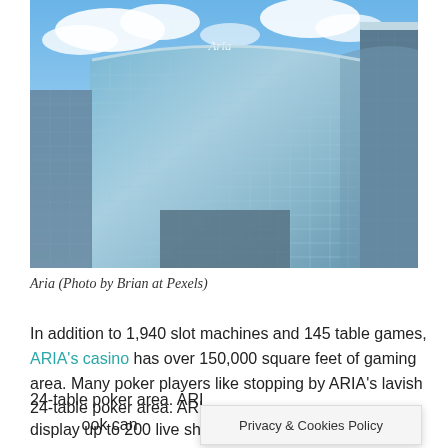[Figure (photo): Exterior photograph of the Aria Resort and Casino in Las Vegas. Tall curved glass skyscraper with blue-tinted reflective facade against a blue sky with clouds. Additional tower buildings visible on right side.]
Aria (Photo by Brian at Pexels)
In addition to 1,940 slot machines and 145 table games, ARIA's casino has over 150,000 square feet of gaming area. Many poker players like stopping by ARIA's lavish 24-table poker area. ARI ook can display up to 200 live sh inimum